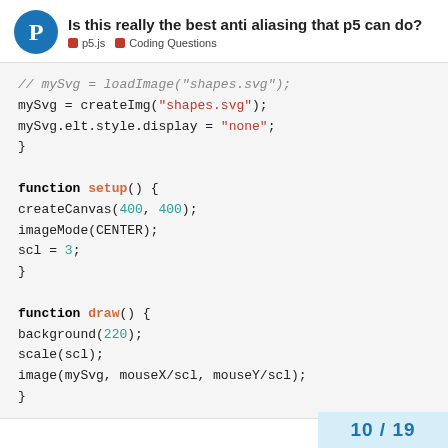Is this really the best anti aliasing that p5 can do? p5.js  Coding Questions
[Figure (screenshot): Code snippet showing JavaScript p5.js code with preload, setup and draw functions]
10 / 19